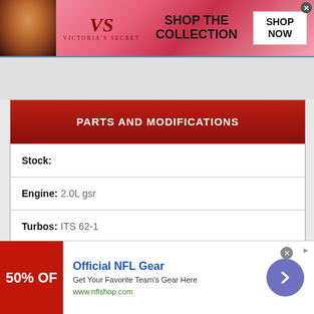[Figure (illustration): Victoria's Secret advertisement banner with model photo, VS logo, 'SHOP THE COLLECTION' text, and 'SHOP NOW' button]
| Stock: |  |
| Engine: | 2.0L gsr |
| Turbos: | ITS 62-1 |
| Supercharger: |  |
| Boost Control: |  |
[Figure (illustration): NFL Shop advertisement: '50% OFF' red banner, 'Official NFL Gear', 'Get Your Favorite Team's Gear Here', 'www.nflshop.com']